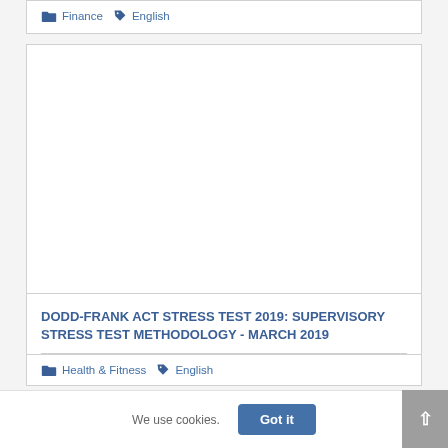Finance  English
[Figure (other): Blank white card/image placeholder]
DODD-FRANK ACT STRESS TEST 2019: SUPERVISORY STRESS TEST METHODOLOGY - MARCH 2019
Health & Fitness  English
We use cookies.
Got it